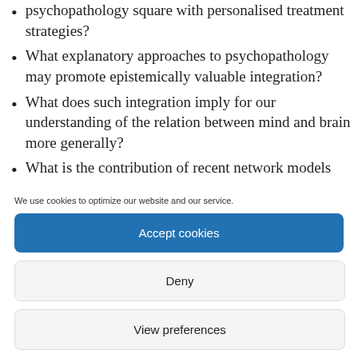psychopathology square with personalised treatment strategies?
What explanatory approaches to psychopathology may promote epistemically valuable integration?
What does such integration imply for our understanding of the relation between mind and brain more generally?
What is the contribution of recent network models
We use cookies to optimize our website and our service.
Accept cookies
Deny
View preferences